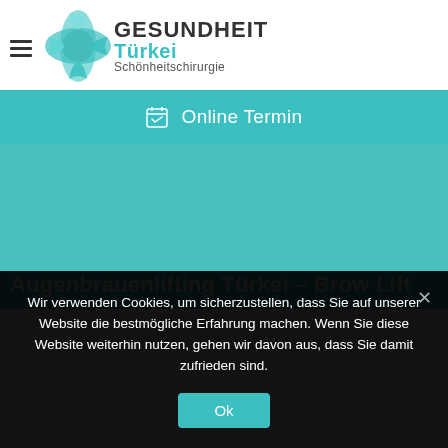[Figure (logo): Gesundheit Türkei Schönheitschirurgie logo with teal cross icon and text]
[Figure (infographic): Teal button bar with calendar icon and text 'Online Termin']
Augenbrauenlifting Türkei – Brow Lift
Wir verwenden Cookies, um sicherzustellen, dass Sie auf unserer Website die bestmögliche Erfahrung machen. Wenn Sie diese Website weiterhin nutzen, gehen wir davon aus, dass Sie damit zufrieden sind.
Ok